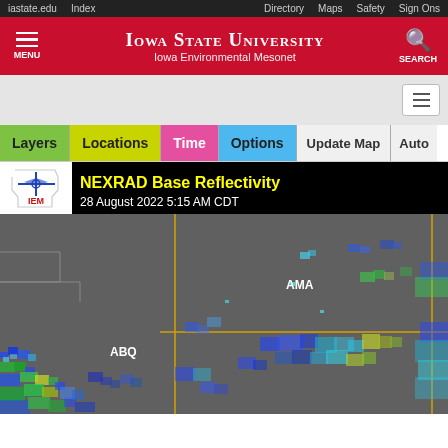iastate.edu  Index  Directory  Maps  Safety  Sign Ons
[Figure (screenshot): Iowa State University Iowa Environmental Mesonet website header with red background, menu icon on left, ISU logo and Mesonet subtitle in center, search icon on right]
[Figure (screenshot): IEM web application toolbar with colored buttons: Layers (green), Locations (yellow-green), Time (pink), Options (light blue), Update Map (gray), Auto (gray)]
[Figure (map): NEXRAD Base Reflectivity radar map dated 28 August 2022 5:15 AM CDT showing precipitation patterns over the southwestern United States with labels AMA and ABQ. Radar returns shown in blue, green, and yellow on gray background with orange county/state border lines. IEM logo in top-left corner of radar image.]